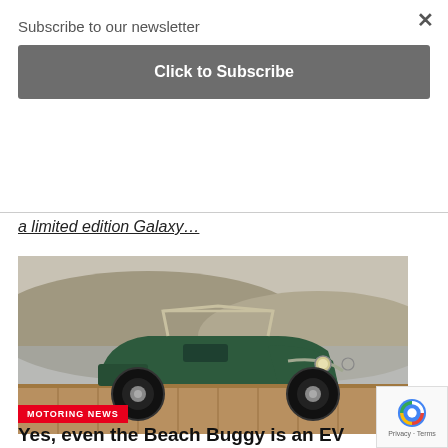Subscribe to our newsletter
Click to Subscribe
a limited edition Galaxy…
[Figure (photo): A dark green beach buggy / dune buggy EV parked on a wooden surface near water with misty hills in background. Red label 'MOTORING NEWS' overlaid at lower left.]
MOTORING NEWS
Yes, even the Beach Buggy is an EV now